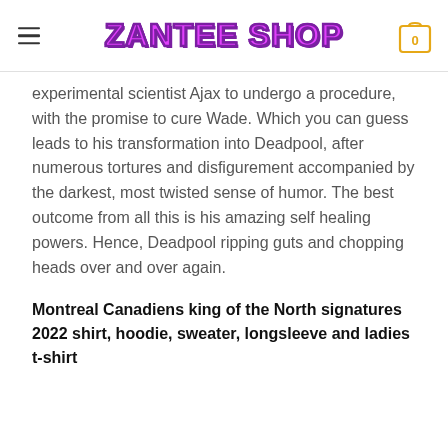ZANTEE SHOP
experimental scientist Ajax to undergo a procedure, with the promise to cure Wade. Which you can guess leads to his transformation into Deadpool, after numerous tortures and disfigurement accompanied by the darkest, most twisted sense of humor. The best outcome from all this is his amazing self healing powers. Hence, Deadpool ripping guts and chopping heads over and over again.
Montreal Canadiens king of the North signatures 2022 shirt, hoodie, sweater, longsleeve and ladies t-shirt